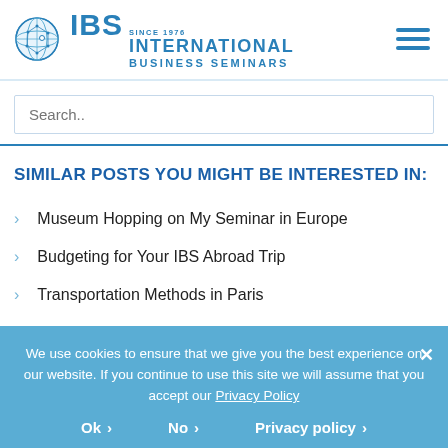[Figure (logo): IBS International Business Seminars logo with globe icon, 'SINCE 1976' text, and hamburger menu icon]
Search..
SIMILAR POSTS YOU MIGHT BE INTERESTED IN:
Museum Hopping on My Seminar in Europe
Budgeting for Your IBS Abroad Trip
Transportation Methods in Paris
A Program Worth The Money
We use cookies to ensure that we give you the best experience on our website. If you continue to use this site we will assume that you accept our Privacy Policy
Ok  No  Privacy policy